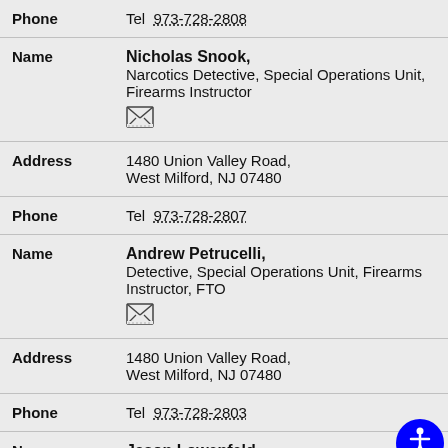| Field | Value |
| --- | --- |
| Phone | Tel 973-728-2808 |
| Name | Nicholas Snook, Narcotics Detective, Special Operations Unit, Firearms Instructor |
| Address | 1480 Union Valley Road, West Milford, NJ 07480 |
| Phone | Tel 973-728-2807 |
| Name | Andrew Petrucelli, Detective, Special Operations Unit, Firearms Instructor, FTO |
| Address | 1480 Union Valley Road, West Milford, NJ 07480 |
| Phone | Tel 973-728-2803 |
| Name | Jason Lowenfeld, |